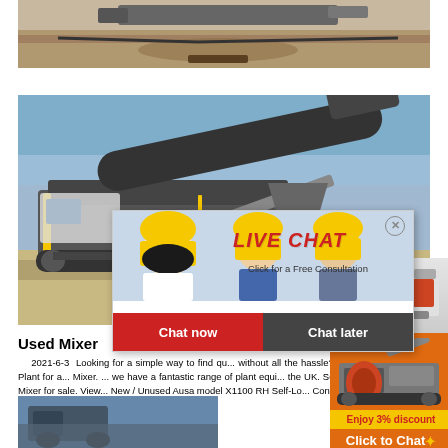[Figure (photo): Aerial/ground view of a construction site with machinery and earth]
[Figure (photo): Mobile crusher/screening machine on construction site with blue sky background]
Used Mixer
2021-6-3  Looking for a simple way to find qu... without all the hassle? Visit Auto Trader Plant for a... Mixer. ... we have a fantastic range of plant equi... the UK. Search. Latest used Mixer for sale. View... New / Unused Ausa model X1100 RH Self-Lo... Concrete ...
[Figure (screenshot): Live Chat overlay popup with woman in hard hat, LIVE CHAT heading, Chat now and Chat later buttons]
[Figure (photo): Bottom strip photo of construction/mixing equipment]
[Figure (infographic): Right sidebar orange panel with crusher machine images, Enjoy 3% discount, Click to Chat, and Enquiry buttons]